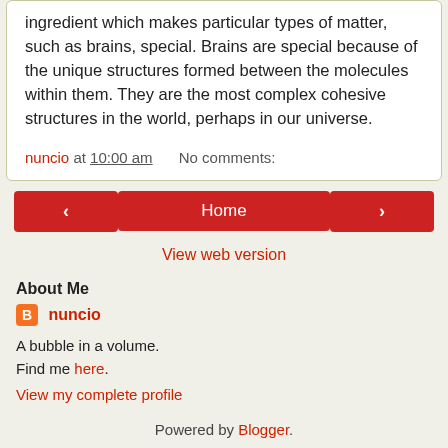ingredient which makes particular types of matter, such as brains, special. Brains are special because of the unique structures formed between the molecules within them. They are the most complex cohesive structures in the world, perhaps in our universe.
nuncio at 10:00 am    No comments:
‹   Home   ›
View web version
About Me
nuncio
A bubble in a volume.
Find me here.
View my complete profile
Powered by Blogger.